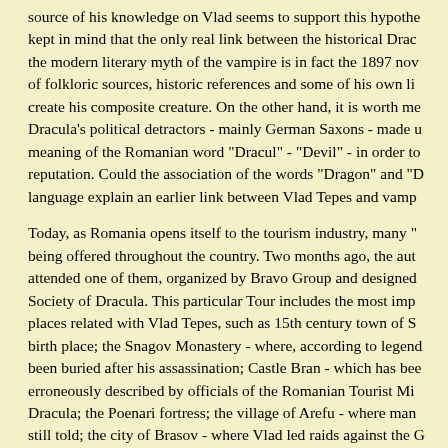source of his knowledge on Vlad seems to support this hypothe kept in mind that the only real link between the historical Drac the modern literary myth of the vampire is in fact the 1897 nov of folkloric sources, historic references and some of his own li create his composite creature. On the other hand, it is worth me Dracula's political detractors - mainly German Saxons - made meaning of the Romanian word "Dracul" - "Devil" - in order to reputation. Could the association of the words "Dragon" and "D language explain an earlier link between Vlad Tepes and vamp
Today, as Romania opens itself to the tourism industry, many " being offered throughout the country. Two months ago, the aut attended one of them, organized by Bravo Group and designed Society of Dracula. This particular Tour includes the most imp places related with Vlad Tepes, such as 15th century town of S birth place; the Snagov Monastery - where, according to legend been buried after his assassination; Castle Bran - which has be erroneously described by officials of the Romanian Tourist Mi Dracula; the Poenari fortress; the village of Arefu - where ma still told; the city of Brasov - where Vlad led raids against the of course, Curtea Domneasca - Dracula's palace in Bucharest. the folklorical aspects of the fictional Dracula. For instance, o eating the meal Jonathan Harker ate at The Golden Crown in B